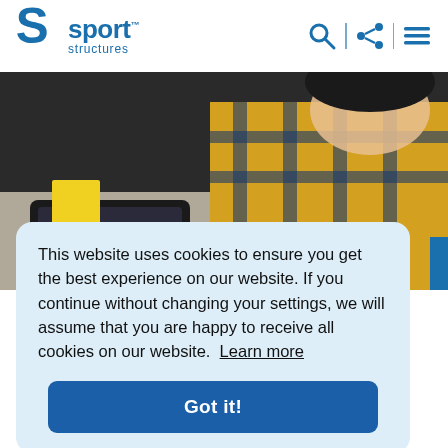[Figure (logo): Sport Structures logo with blue stylized S icon and blue text reading 'sport structures' with a TM mark]
[Figure (photo): A child in a yellow plaid shirt leaning over a desk, working on something. There is a tablet and yellow paper visible on the desk.]
This website uses cookies to ensure you get the best experience on our website. If you continue without changing your settings, we will assume that you are happy to receive all cookies on our website. Learn more
Got it!